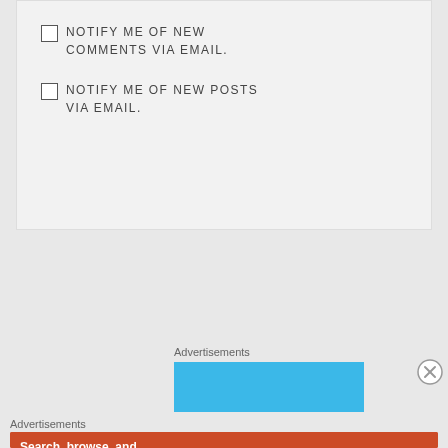NOTIFY ME OF NEW COMMENTS VIA EMAIL.
NOTIFY ME OF NEW POSTS VIA EMAIL.
Advertisements
[Figure (other): Blue advertisement placeholder box]
Advertisements
[Figure (other): DuckDuckGo advertisement: Search, browse, and email with more privacy. All in One Free App]